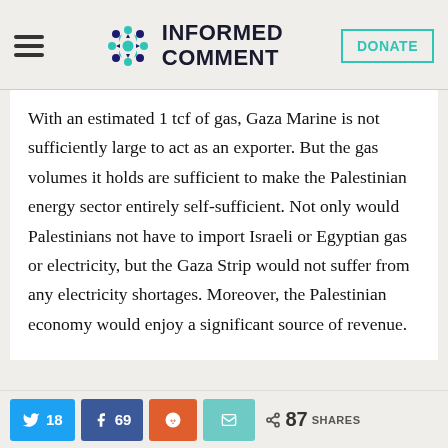Informed Comment
With an estimated 1 tcf of gas, Gaza Marine is not sufficiently large to act as an exporter. But the gas volumes it holds are sufficient to make the Palestinian energy sector entirely self-sufficient. Not only would Palestinians not have to import Israeli or Egyptian gas or electricity, but the Gaza Strip would not suffer from any electricity shortages. Moreover, the Palestinian economy would enjoy a significant source of revenue.
That move to sovereign rule was not to be. Despite persistent attempts by owners of the field and investors to
18 shares on Twitter | 69 shares on Facebook | Reddit | Email | 87 SHARES